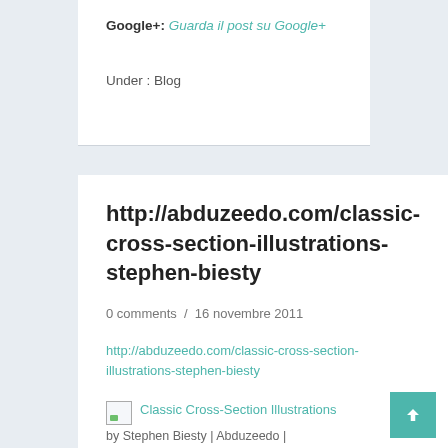Google+: Guarda il post su Google+
Under : Blog
http://abduzeedo.com/classic-cross-section-illustrations-stephen-biesty
0 comments  /  16 novembre 2011
http://abduzeedo.com/classic-cross-section-illustrations-stephen-biesty
Classic Cross-Section Illustrations by Stephen Biesty | Abduzeedo |